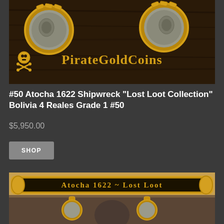[Figure (photo): Photo of ancient coins in gold settings with PirateGoldCoins logo and skull-and-crossbones icon on dark wood background]
#50 Atocha 1622 Shipwreck "Lost Loot Collection" Bolivia 4 Reales Grade 1 #50
$5,950.00
SHOP
[Figure (photo): Photo showing Atocha 1622 Lost Loot gold banner/label and coin pendants in gold settings against a dark background with skull imagery]